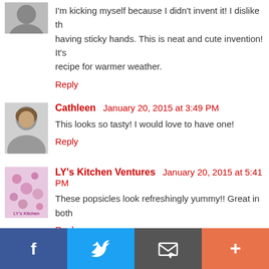I'm kicking myself because I didn't invent it! I dislike having sticky hands. This is neat and cute invention! It's recipe for warmer weather.
Reply
Cathleen  January 20, 2015 at 3:49 PM
This looks so tasty! I would love to have one!
Reply
LY's Kitchen Ventures  January 20, 2015 at 5:41 PM
These popsicles look refreshingly yummy!! Great in both
Reply
Unknown  January 20, 2015 at 6:05 PM
[Figure (other): Social share bar with Facebook, Twitter, Email, and Plus buttons]